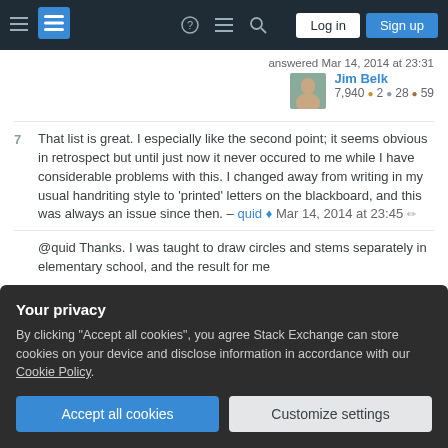Stack Exchange navigation header with Log in and Sign up buttons
answered Mar 14, 2014 at 23:31
Jim Belk 7,940 ●2 ●28 ●59
7   That list is great. I especially like the second point; it seems obvious in retrospect but until just now it never occured to me while I have considerable problems with this. I changed away from writing in my usual handriting style to 'printed' letters on the blackboard, and this was always an issue since then. – quid ♦ Mar 14, 2014 at 23:45
@quid Thanks. I was taught to draw circles and stems separately in elementary school, and the result for me
Your privacy
By clicking "Accept all cookies", you agree Stack Exchange can store cookies on your device and disclose information in accordance with our Cookie Policy.
Accept all cookies   Customize settings